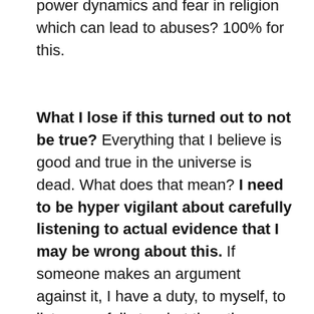just fucking cultish, in a bad way. Fighting unhealthy power dynamics and fear in religion which can lead to abuses? 100% for this.
What I lose if this turned out to not be true? Everything that I believe is good and true in the universe is dead. What does that mean? I need to be hyper vigilant about carefully listening to actual evidence that I may be wrong about this. If someone makes an argument against it, I have a duty, to myself, to listen carefully to what the other person is saying, and to engage them in rational debate. I also need to think deeply about why this idea is so important to me, and think about who I need to be or what underlying principles hold true if this assumption proves false.